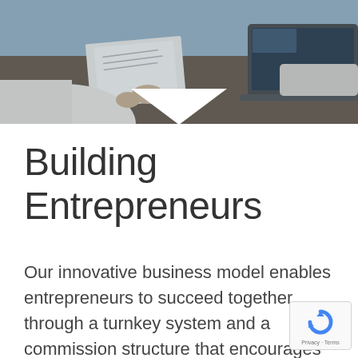[Figure (photo): Background photo of business professionals at a desk with documents and a laptop, viewed from above, in blue-grey tones.]
Building Entrepreneurs
Our innovative business model enables entrepreneurs to succeed together through a turnkey system and a commission structure that encourages mentorship and teamwork. Join WFG today and be part of the thousands of independent professionals across the